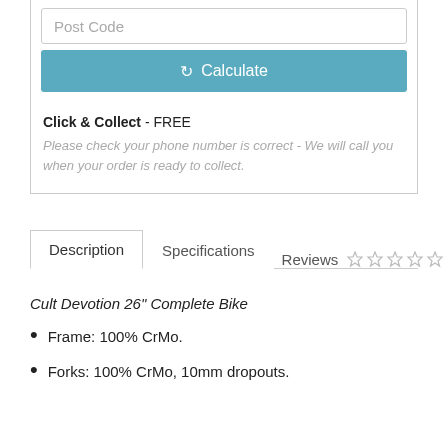Post Code
Calculate
Click & Collect - FREE
Please check your phone number is correct - We will call you when your order is ready to collect.
Description | Specifications | Reviews
Cult Devotion 26" Complete Bike
Frame: 100% CrMo.
Forks: 100% CrMo, 10mm dropouts.